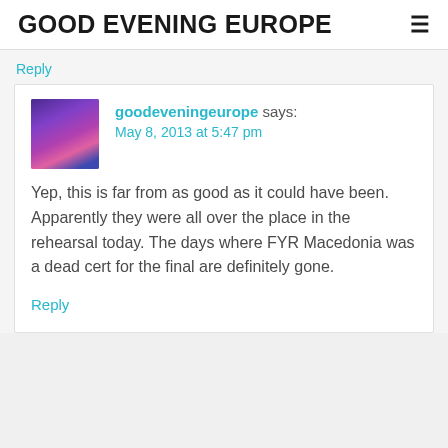GOOD EVENING EUROPE
Reply
goodeveningeurope says:
May 8, 2013 at 5:47 pm

Yep, this is far from as good as it could have been. Apparently they were all over the place in the rehearsal today. The days where FYR Macedonia was a dead cert for the final are definitely gone.
Reply